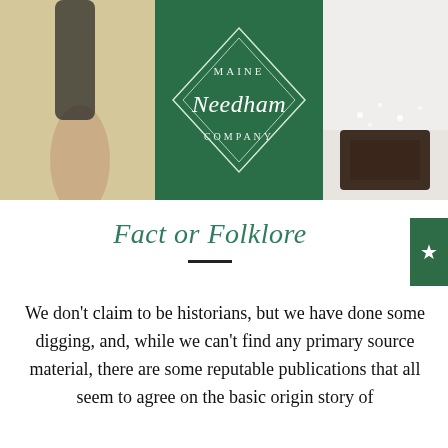[Figure (logo): Maine Needham Company logo on green background, flanked by partial photos on left (hand/person) and right (chocolate/snow texture)]
Fact or Folklore
We don't claim to be historians, but we have done some digging, and, while we can't find any primary source material, there are some reputable publications that all seem to agree on the basic origin story of